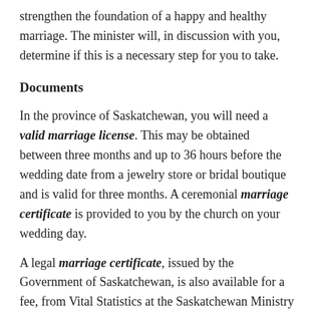strengthen the foundation of a happy and healthy marriage. The minister will, in discussion with you, determine if this is a necessary step for you to take.
Documents
In the province of Saskatchewan, you will need a valid marriage license. This may be obtained between three months and up to 36 hours before the wedding date from a jewelry store or bridal boutique and is valid for three months. A ceremonial marriage certificate is provided to you by the church on your wedding day.
A legal marriage certificate, issued by the Government of Saskatchewan, is also available for a fee, from Vital Statistics at the Saskatchewan Ministry of Health and can